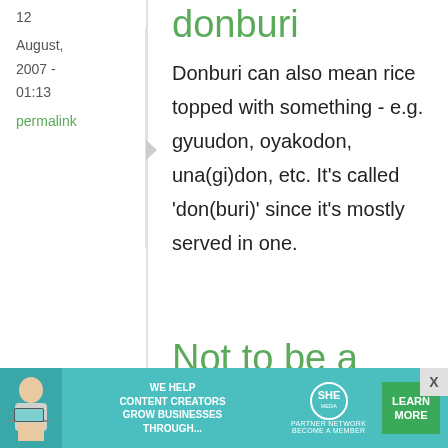12
August, 2007 - 01:13
permalink
donburi
Donburi can also mean rice topped with something - e.g. gyuudon, oyakodon, una(gi)don, etc. It's called 'don(buri)' since it's mostly served in one.
Tim
12
Not to be a
[Figure (infographic): Advertisement banner: teal background, woman with laptop, SHE Media Partner Network logo, 'We help content creators grow businesses through...' text, green Learn More button, X close button]